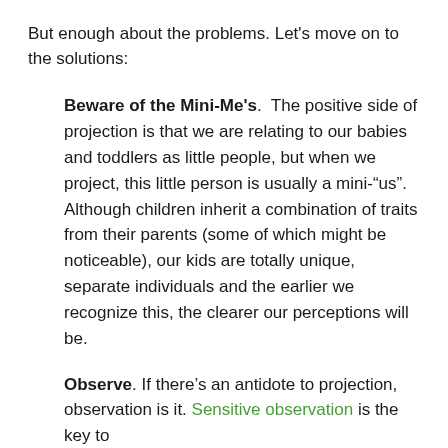But enough about the problems. Let's move on to the solutions:
Beware of the Mini-Me's.  The positive side of projection is that we are relating to our babies and toddlers as little people, but when we project, this little person is usually a mini-“us”.  Although children inherit a combination of traits from their parents (some of which might be noticeable), our kids are totally unique, separate individuals and the earlier we recognize this, the clearer our perceptions will be.
Observe. If there’s an antidote to projection, observation is it. Sensitive observation is the key to